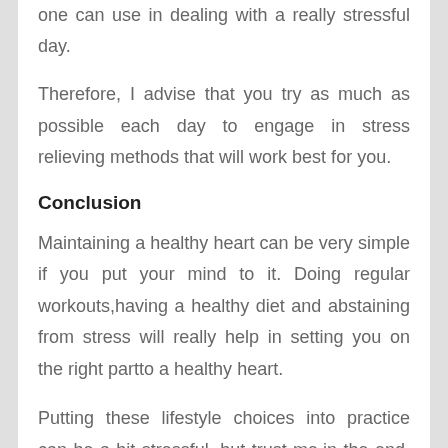one can use in dealing with a really stressful day.
Therefore, I advise that you try as much as possible each day to engage in stress relieving methods that will work best for you.
Conclusion
Maintaining a healthy heart can be very simple if you put your mind to it. Doing regular workouts,having a healthy diet and abstaining from stress will really help in setting you on the right partto a healthy heart.
Putting these lifestyle choices into practice can be a bit stressful, but trust me,in the end, it's worth it.